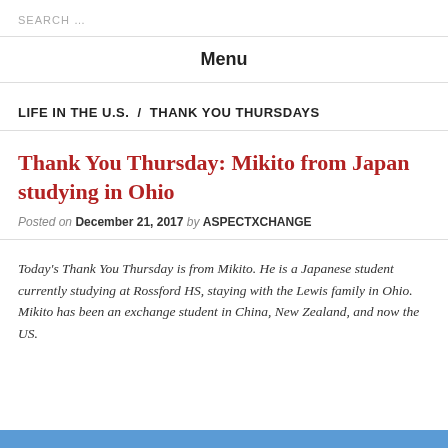SEARCH ...
Menu
LIFE IN THE U.S. / THANK YOU THURSDAYS
Thank You Thursday: Mikito from Japan studying in Ohio
Posted on December 21, 2017 by ASPECTXCHANGE
Today's Thank You Thursday is from Mikito. He is a Japanese student currently studying at Rossford HS, staying with the Lewis family in Ohio. Mikito has been an exchange student in China, New Zealand, and now the US.